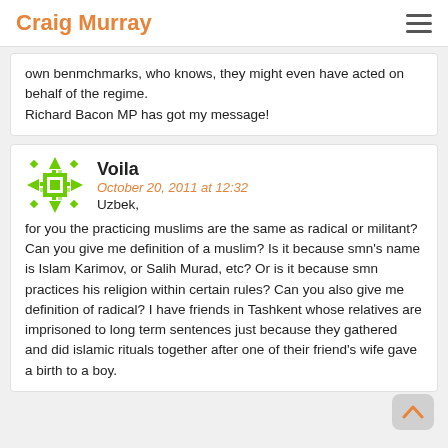Craig Murray
own benmchmarks, who knows, they might even have acted on behalf of the regime.
Richard Bacon MP has got my message!
Voila
October 20, 2011 at 12:32
Uzbeck,
for you the practicing muslims are the same as radical or militant? Can you give me definition of a muslim? Is it because smn's name is Islam Karimov, or Salih Murad, etc? Or is it because smn practices his religion within certain rules? Can you also give me definition of radical? I have friends in Tashkent whose relatives are imprisoned to long term sentences just because they gathered and did islamic rituals together after one of their friend's wife gave a birth to a boy.